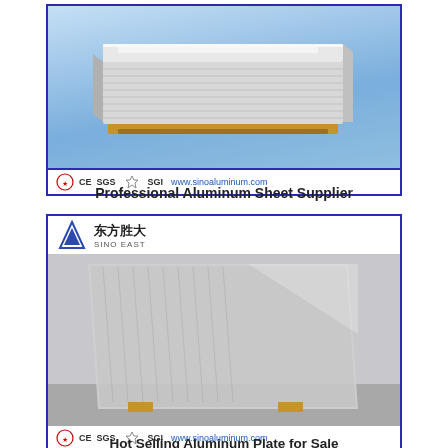[Figure (photo): Aluminum sheet/plate stack on wooden pallet against light blue background, with certification logos bar at bottom (CE, SGS, BV, BSI) and www.sinoaluminum.com]
Professional Aluminum Sheet Supplier
[Figure (photo): Stack of aluminum plates leaning against wall, with Sino East (东方胜大) logo header, certification logos bar (CE, SGS, BV, BSI) and www.sinoaluminum.com]
Hot Selling Aluminum Plate for Sale